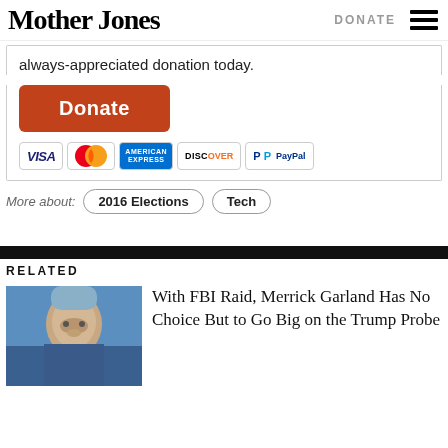Mother Jones | DONATE
always-appreciated donation today.
[Figure (other): Orange Donate button followed by payment icons: VISA, MasterCard, American Express, Discover, PayPal]
More about: 2016 Elections  Tech
RELATED
[Figure (photo): Photo of Merrick Garland against blue background]
With FBI Raid, Merrick Garland Has No Choice But to Go Big on the Trump Probe